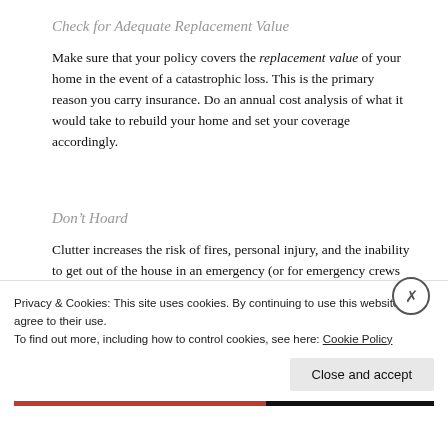Check for Adequate Replacement Value
Make sure that your policy covers the replacement value of your home in the event of a catastrophic loss. This is the primary reason you carry insurance. Do an annual cost analysis of what it would take to rebuild your home and set your coverage accordingly.
Don’t Hoard
Clutter increases the risk of fires, personal injury, and the inability to get out of the house in an emergency (or for emergency crews to get in). It also impedes proper maintenance. This will be reflected in what you pay in premiums. Cleanliness pays.
Privacy & Cookies: This site uses cookies. By continuing to use this website, you agree to their use.
To find out more, including how to control cookies, see here: Cookie Policy
Close and accept